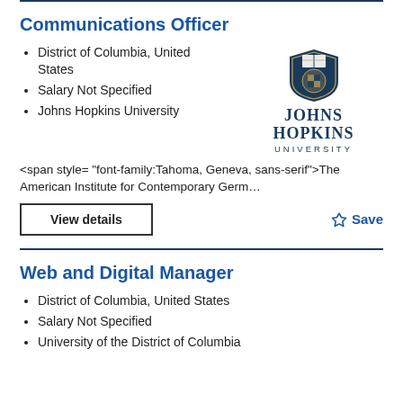Communications Officer
District of Columbia, United States
Salary Not Specified
Johns Hopkins University
[Figure (logo): Johns Hopkins University shield logo with text JOHNS HOPKINS UNIVERSITY]
<span style= "font-family:Tahoma, Geneva, sans-serif">The American Institute for Contemporary Germ…
View details
Save
Web and Digital Manager
District of Columbia, United States
Salary Not Specified
University of the District of Columbia